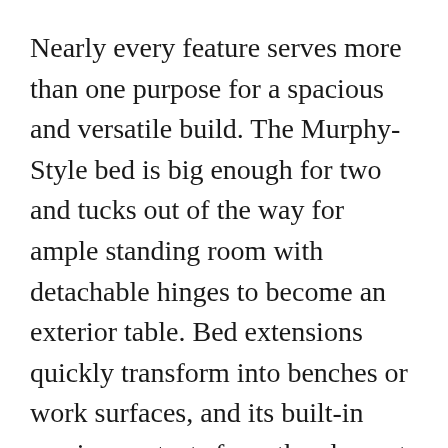Nearly every feature serves more than one purpose for a spacious and versatile build. The Murphy-Style bed is big enough for two and tucks out of the way for ample standing room with detachable hinges to become an exterior table. Bed extensions quickly transform into benches or work surfaces, and its built-in awning protects from the elements while putting the beauty of open spaces front and center.
Pull up anywhere and set up camp in minutes. With a flip of a switch, air-powered actuators